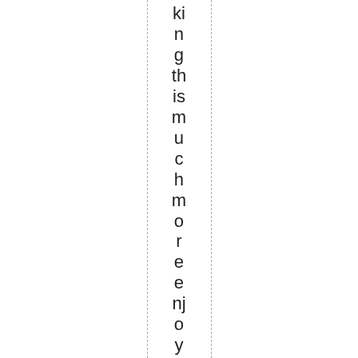king this much more enjoyable to shoot